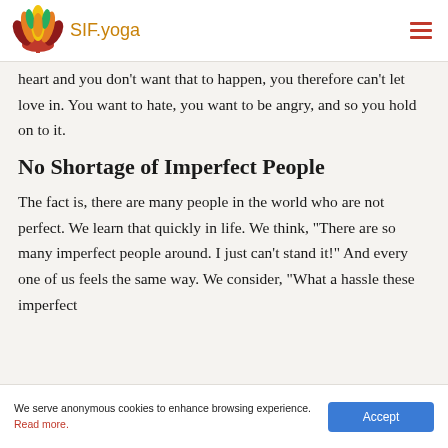SIF.yoga
heart and you don’t want that to happen, you therefore can’t let love in. You want to hate, you want to be angry, and so you hold on to it.
No Shortage of Imperfect People
The fact is, there are many people in the world who are not perfect. We learn that quickly in life. We think, “There are so many imperfect people around. I just can’t stand it!” And every one of us feels the same way. We consider, “What a hassle these imperfect
We serve anonymous cookies to enhance browsing experience. Read more.